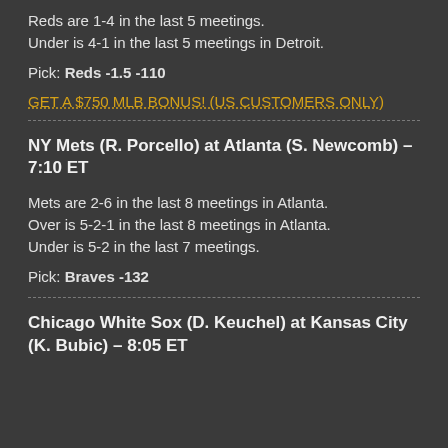Reds are 1-4 in the last 5 meetings.
Under is 4-1 in the last 5 meetings in Detroit.
Pick: Reds -1.5 -110
GET A $750 MLB BONUS! (US CUSTOMERS ONLY)
NY Mets (R. Porcello) at Atlanta (S. Newcomb) – 7:10 ET
Mets are 2-6 in the last 8 meetings in Atlanta.
Over is 5-2-1 in the last 8 meetings in Atlanta.
Under is 5-2 in the last 7 meetings.
Pick: Braves -132
Chicago White Sox (D. Keuchel) at Kansas City (K. Bubic) – 8:05 ET